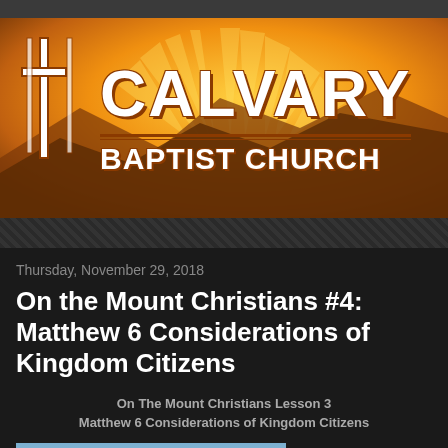[Figure (logo): Calvary Baptist Church logo with orange/golden sunburst background, white cross on left, bold white text 'CALVARY' and 'BAPTIST CHURCH' with brown outlines]
Thursday, November 29, 2018
On the Mount Christians #4: Matthew 6 Considerations of Kingdom Citizens
On The Mount Christians Lesson 3
Matthew 6 Considerations of Kingdom Citizens
[Figure (photo): Thumbnail photo of sky with clouds and dark landscape silhouette]